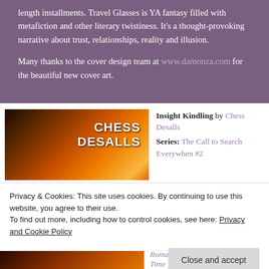length installments. Travel Glasses is YA fantasy filled with metafiction and other literary twistiness. It's a thought-provoking narrative about trust, relationships, reality and illusion.
Many thanks to the cover design team at www.damonza.com for the beautiful new cover art.
[Figure (illustration): Book cover for 'Chess Desalls' showing a woman with dark hair against a fiery orange background, with CHESS DESALLS text on the right side.]
Insight Kindling by Chess Desalls Series: The Call to Search Everywhen #2
Privacy & Cookies: This site uses cookies. By continuing to use this website, you agree to their use.
To find out more, including how to control cookies, see here: Privacy and Cookie Policy
Romance, Time Travel